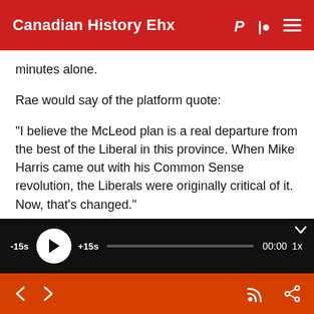Canadian History Ehx
minutes alone.
Rae would say of the platform quote:
“I believe the McLeod plan is a real departure from the best of the Liberal in this province. When Mike Harris came out with his Common Sense revolution, the Liberals were originally critical of it. Now, that’s changed.”
[Figure (screenshot): Audio player bar with -15s, play button, +15s, progress bar, 00:00 timestamp, and 1x speed control on a black background]
Navigation bar with back/forward arrows, RSS icon, and share icon on orange background